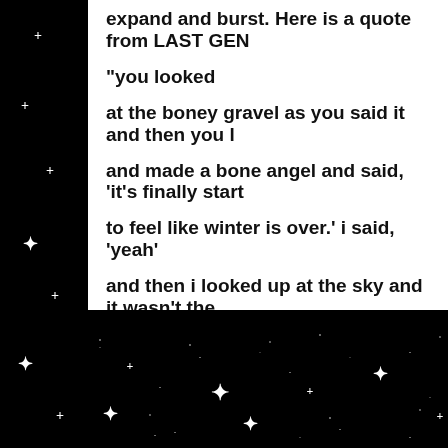expand and burst. Here is a quote from LAST GEN...
“you looked

at the boney gravel as you said it and then you l

and made a bone angel and said, ‘it’s finally start

to feel like winter is over.’ i said, ‘yeah’

and then i looked up at the sky and it wasn’t the
Author Spotlight / 14 Comments
October 7th, 2008 / 12:19 am
[Figure (photo): Black starfield background with white star/sparkle shapes scattered across it, visible on left side and bottom portion of page]